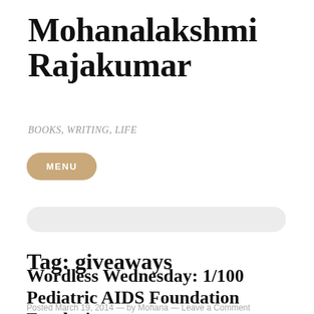Mohanalakshmi Rajakumar
BOOKS, WRITING, LIFE
MENU
Tag: giveaways
Wordless Wednesday: 1/100 Pediatric AIDS Foundation Fundraiser
Posted March 19, 2014  —  by Mohana — Leave a Comment